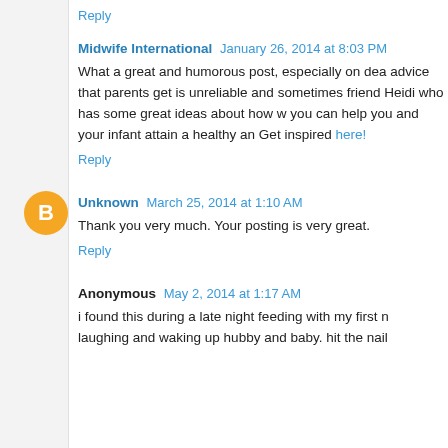Reply
Midwife International  January 26, 2014 at 8:03 PM
What a great and humorous post, especially on dea advice that parents get is unreliable and sometimes friend Heidi who has some great ideas about how w you can help you and your infant attain a healthy an Get inspired here!
Reply
Unknown  March 25, 2014 at 1:10 AM
Thank you very much. Your posting is very great.
Reply
Anonymous  May 2, 2014 at 1:17 AM
i found this during a late night feeding with my first laughing and waking up hubby and baby. hit the nail